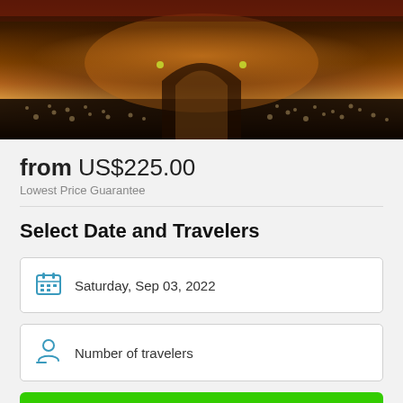[Figure (photo): Aerial view of an ornate building or plaza at night with warm orange lighting and crowds of people]
from US$225.00
Lowest Price Guarantee
Select Date and Travelers
Saturday, Sep 03, 2022
Number of travelers
Check Availability